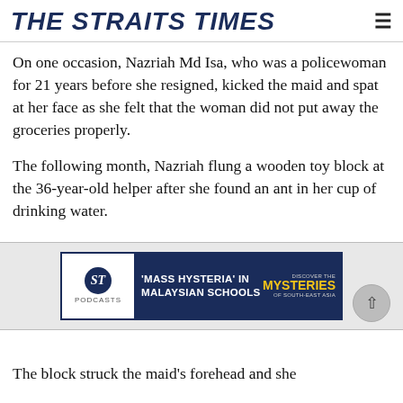THE STRAITS TIMES
On one occasion, Nazriah Md Isa, who was a policewoman for 21 years before she resigned, kicked the maid and spat at her face as she felt that the woman did not put away the groceries properly.
The following month, Nazriah flung a wooden toy block at the 36-year-old helper after she found an ant in her cup of drinking water.
[Figure (screenshot): Advertisement banner for The Straits Times Podcasts: 'Mass Hysteria' in Malaysian Schools - Mysteries of South-East Asia]
The block struck the maid's forehead and she